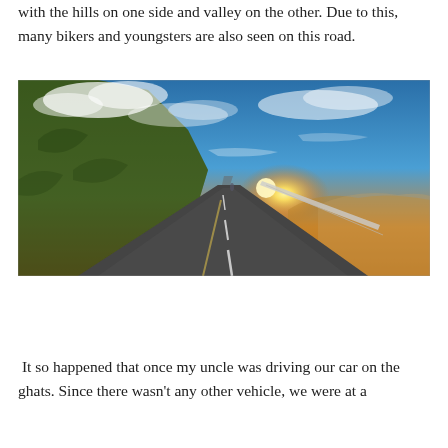with the hills on one side and valley on the other. Due to this, many bikers and youngsters are also seen on this road.
[Figure (photo): A scenic mountain road winding through hilly terrain at sunset, with a dramatic sky featuring blue tones, clouds, and a bright sun near the horizon. Hills are on the left side and a valley vista on the right. A guardrail is visible on the right side of the road.]
It so happened that once my uncle was driving our car on the ghats. Since there wasn't any other vehicle, we were at a